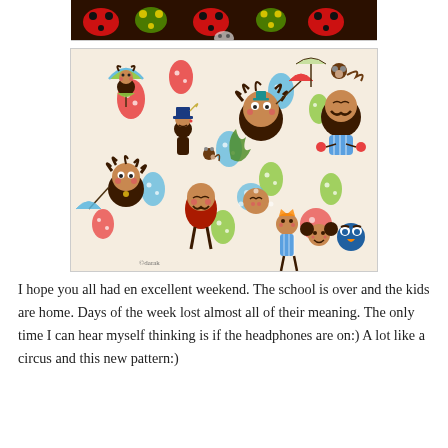[Figure (illustration): Top portion of a colorful ladybug/polka-dot pattern on dark brown background, partially cropped at top of page]
[Figure (illustration): Colorful circus-themed illustration with whimsical cartoon characters including performers, acrobats, monkeys, umbrellas, polka-dot eggs, and a copyright mark 'Cdarak' at the bottom left]
I hope you all had en excellent weekend. The school is over and the kids are home. Days of the week lost almost all of their meaning. The only time I can hear myself thinking is if the headphones are on:)  A lot like a circus and this new pattern:)